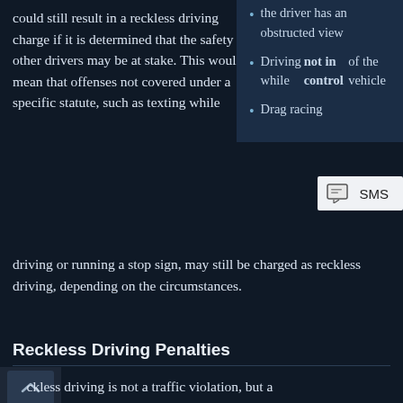could still result in a reckless driving charge if it is determined that the safety of other drivers may be at stake. This would mean that offenses not covered under a specific statute, such as texting while driving or running a stop sign, may still be charged as reckless driving, depending on the circumstances.
the driver has an obstructed view
Driving while not in control of the vehicle
Drag racing
[Figure (other): SMS tooltip/button overlay in light gray box]
Reckless Driving Penalties
reckless driving is not a traffic violation, but a misdemeanor. Being a criminal charge and not a violation means that a reckless driving conviction will cause you to have a criminal record that remains with you for the rest of your life. While not a felony, a misdemeanor conviction